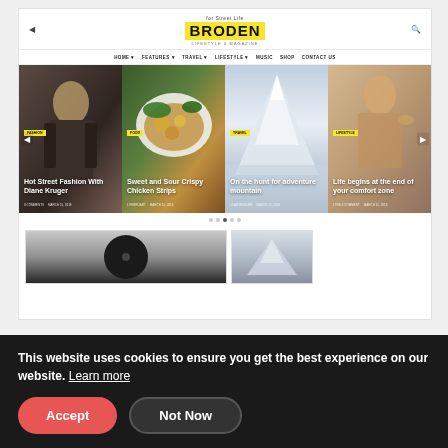[Figure (screenshot): Website screenshot of BRODEN lifestyle and magazine theme showing header with logo, navigation menu (HOME, FEATURES, TRAVEL, LIFESTYLE, MUSIC, SHOP, CONTACT US), a 4-panel image slider with articles: 'Hot Street Fashion With Diane Kruger', 'Sweet and Sour Crispy Chicken Strips', 'On the hunt for adventure mountain', 'Life begins at the end of your comfort zone', plus bottom preview images.]
WooCommerce Support
This website uses cookies to ensure you get the best experience on our website. Learn more
Accept
Not Now